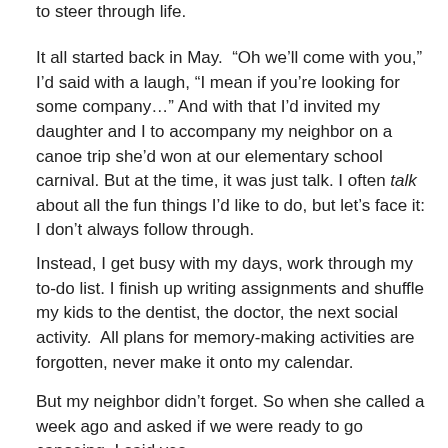to steer through life.
It all started back in May.  “Oh we’ll come with you,” I’d said with a laugh, “I mean if you’re looking for some company…” And with that I’d invited my daughter and I to accompany my neighbor on a canoe trip she’d won at our elementary school carnival. But at the time, it was just talk. I often talk about all the fun things I’d like to do, but let’s face it: I don’t always follow through.
Instead, I get busy with my days, work through my to-do list. I finish up writing assignments and shuffle my kids to the dentist, the doctor, the next social activity.  All plans for memory-making activities are forgotten, never make it onto my calendar.
But my neighbor didn’t forget. So when she called a week ago and asked if we were ready to go canoeing, I said yes